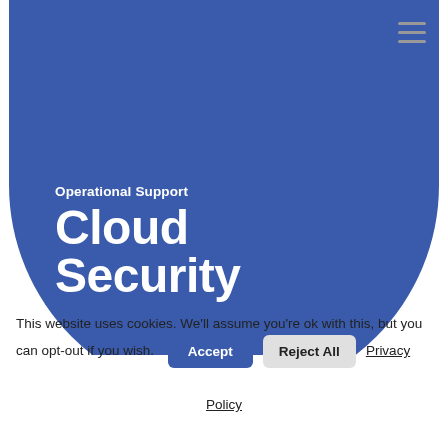[Figure (illustration): Large blue semicircle hero image with white text overlay reading 'Operational Support' and 'Cloud Security' on a white background. Navigation hamburger menu icon in top right corner.]
Operational Support
Cloud Security
This website uses cookies. We'll assume you're ok with this, but you can opt-out if you wish.
Accept | Reject All | Privacy Policy